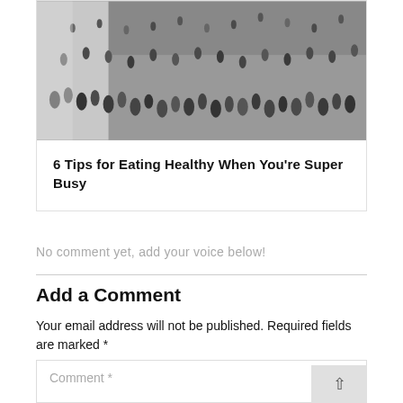[Figure (photo): Black and white aerial photo of a crowd of people in a busy public space]
6 Tips for Eating Healthy When You're Super Busy
No comment yet, add your voice below!
Add a Comment
Your email address will not be published. Required fields are marked *